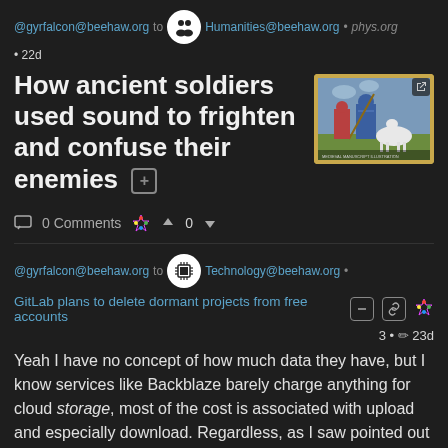@gyrfalcon@beehaw.org to Humanities@beehaw.org • phys.org • 22d
How ancient soldiers used sound to frighten and confuse their enemies
[Figure (photo): Medieval illuminated manuscript illustration showing armored soldiers and a white horse in battle]
0 Comments  0
@gyrfalcon@beehaw.org to Technology@beehaw.org
GitLab plans to delete dormant projects from free accounts
3 • 23d
Yeah I have no concept of how much data they have, but I know services like Backblaze barely charge anything for cloud storage, most of the cost is associated with upload and especially download. Regardless, as I saw pointed out on some other discussions, $1 million is what, a few engineers